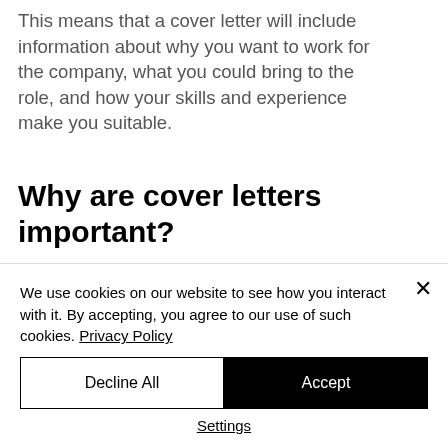This means that a cover letter will include information about why you want to work for the company, what you could bring to the role, and how your skills and experience make you suitable.
Why are cover letters important?
Cover letters are important documents that give you the opportunity to showcase why you are suited for a
We use cookies on our website to see how you interact with it. By accepting, you agree to our use of such cookies. Privacy Policy
Decline All
Accept
Settings